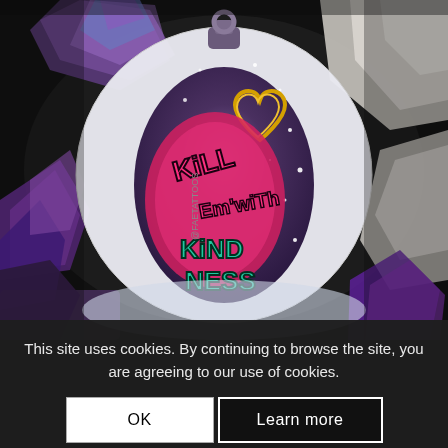[Figure (photo): A circular sticker reading 'Kill Em With Kindness' designed as a grenade shape with pink and teal graffiti-style lettering and a gold heart, surrounded by colorful crystals and rocks on a dark background. Attribution '@FAETATTOOS' visible on the sticker.]
g* Kill em wit...
$3.00
This site uses cookies. By continuing to browse the site, you are agreeing to our use of cookies.